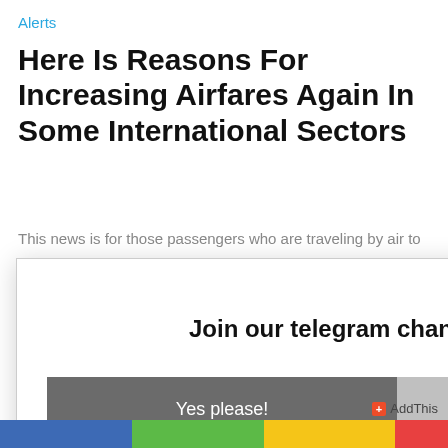Alerts
Here Is Reasons For Increasing Airfares Again In Some International Sectors
This news is for those passengers who are traveling by air to
Join our telegram channel for latest update
Yes please!
No, thanks!
AddThis